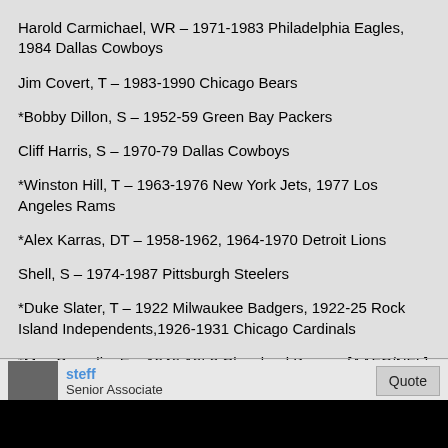Harold Carmichael, WR – 1971-1983 Philadelphia Eagles, 1984 Dallas Cowboys
Jim Covert, T – 1983-1990 Chicago Bears
*Bobby Dillon, S – 1952-59 Green Bay Packers
Cliff Harris, S – 1970-79 Dallas Cowboys
*Winston Hill, T – 1963-1976 New York Jets, 1977 Los Angeles Rams
*Alex Karras, DT – 1958-1962, 1964-1970 Detroit Lions
Shell, S – 1974-1987 Pittsburgh Steelers
*Duke Slater, T – 1922 Milwaukee Badgers, 1922-25 Rock Island Independents,1926-1931 Chicago Cardinals
*Mac Speedie, E – 1946-1952 Cleveland Browns [AAFC/NFL]
*Ed Sprinkle, DE/LB/E – 1944-1955 Chicago Bears
steff — Senior Associate